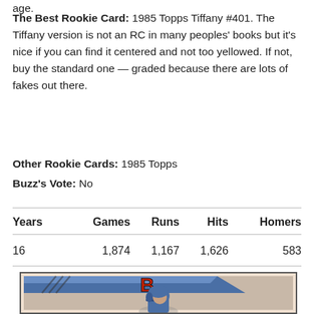age.
The Best Rookie Card: 1985 Topps Tiffany #401. The Tiffany version is not an RC in many peoples' books but it's nice if you can find it centered and not too yellowed. If not, buy the standard one — graded because there are lots of fakes out there.
Other Rookie Cards: 1985 Topps
Buzz's Vote: No
| Years | Games | Runs | Hits | Homers |
| --- | --- | --- | --- | --- |
| 16 | 1,874 | 1,167 | 1,626 | 583 |
[Figure (photo): Baseball card showing a player with a helmet, with a large letter B logo on a blue stripe at top, against a muted background. Card has a light pinkish-tan border.]